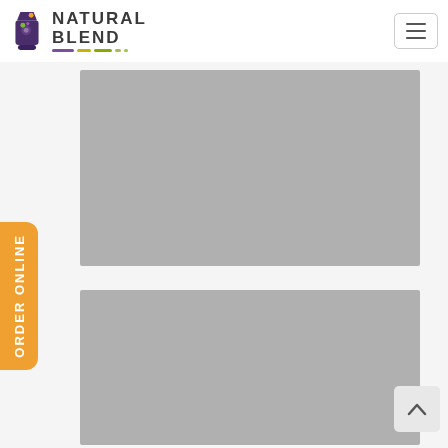[Figure (logo): Natural Blend logo: blender icon on the left with text 'NATURAL BLEND' and a colorful striped underline (purple, yellow-green, olive, green dashes).]
[Figure (other): Navigation hamburger menu button (three horizontal lines) in a rounded rectangle.]
[Figure (photo): Gray placeholder image block (top), representing a product or promotional photo for Natural Blend.]
[Figure (other): Orange vertical 'ORDER ONLINE' tab on the left side of the page.]
[Figure (photo): Gray placeholder image block (bottom), representing a second product or promotional photo for Natural Blend.]
[Figure (other): Back-to-top chevron button in a light gray rounded rectangle at the bottom right.]